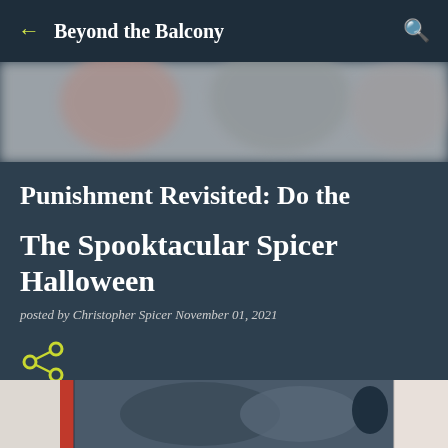Beyond the Balcony
[Figure (photo): Blurred hero image showing people in costumes, muted colors]
Punishment Revisited: Do the
The Spooktacular Spicer Halloween
posted by Christopher Spicer November 01, 2021
[Figure (other): Share icon (branching network symbol) in yellow-green]
[Figure (photo): Partial bottom photo strip showing Halloween-related images]